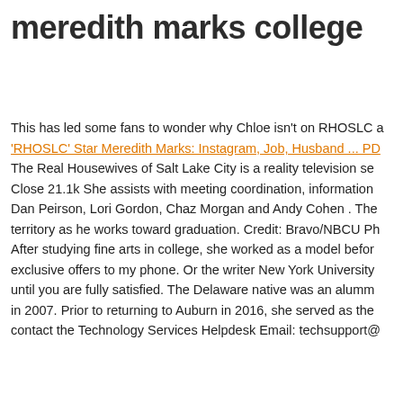meredith marks college
This has led some fans to wonder why Chloe isn't on RHOSLC a 'RHOSLC' Star Meredith Marks: Instagram, Job, Husband ... PD The Real Housewives of Salt Lake City is a reality television se Close 21.1k She assists with meeting coordination, information Dan Peirson, Lori Gordon, Chaz Morgan and Andy Cohen . The territory as he works toward graduation. Credit: Bravo/NBCU Ph After studying fine arts in college, she worked as a model befor exclusive offers to my phone. Or the writer New York University until you are fully satisfied. The Delaware native was an alumm in 2007. Prior to returning to Auburn in 2016, she served as the contact the Technology Services Helpdesk Email: techsupport@